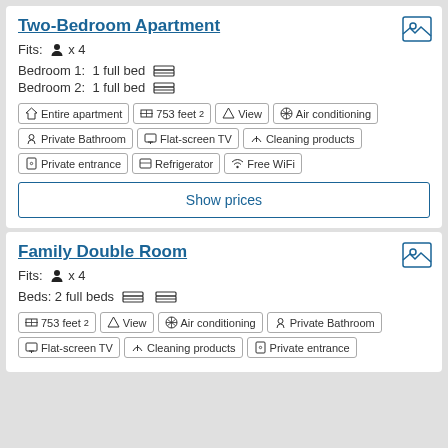Two-Bedroom Apartment
Fits:  x 4
Bedroom 1:  1 full bed
Bedroom 2:  1 full bed
Entire apartment
753 feet²
View
Air conditioning
Private Bathroom
Flat-screen TV
Cleaning products
Private entrance
Refrigerator
Free WiFi
Show prices
Family Double Room
Fits:  x 4
Beds: 2 full beds
753 feet²
View
Air conditioning
Private Bathroom
Flat-screen TV
Cleaning products
Private entrance